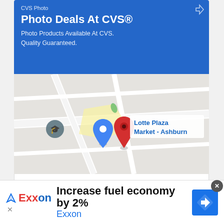[Figure (screenshot): CVS Photo advertisement banner with blue background showing 'Photo Deals At CVS®' headline and 'Photo Products Available At CVS. Quality Guaranteed.' body text]
[Figure (map): Google Maps snippet showing Lotte Plaza Market - Ashburn location with a red pin marker and a blue navigation pin]
[Figure (screenshot): Two buttons: 'Store info' (white, outlined) and 'Directions' (blue filled) below the map]
[Figure (screenshot): Comment row showing a bug avatar image, 'Harry Meyen says' text, and a green vote badge showing '44']
[Figure (screenshot): Exxon advertisement banner at bottom: 'Increase fuel economy by 2%' with Exxon logo and blue directions button. Close X button visible.]